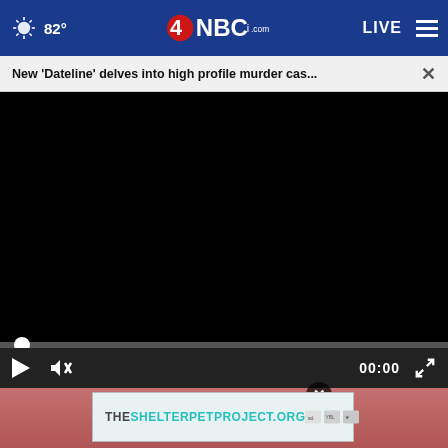82° NBC4i.com LIVE
New 'Dateline' delves into high profile murder cas...
[Figure (screenshot): Black video player area with progress bar at bottom showing 00:00 time stamp]
[Figure (photo): Photo of person wearing pink/red shoes visible at the bottom of the page]
THESHELTERPETPROJECT.ORG